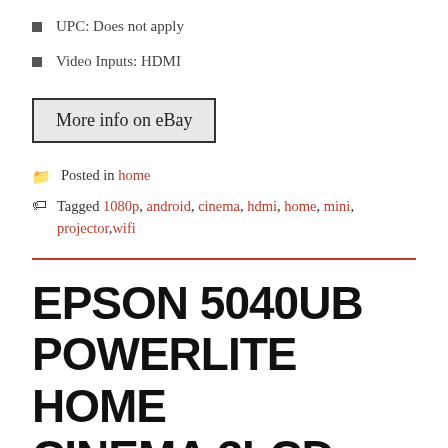UPC: Does not apply
Video Inputs: HDMI
More info on eBay
Posted in home
Tagged 1080p, android, cinema, hdmi, home, mini, projector, wifi
EPSON 5040UB POWERLITE HOME CINEMA 3LCD